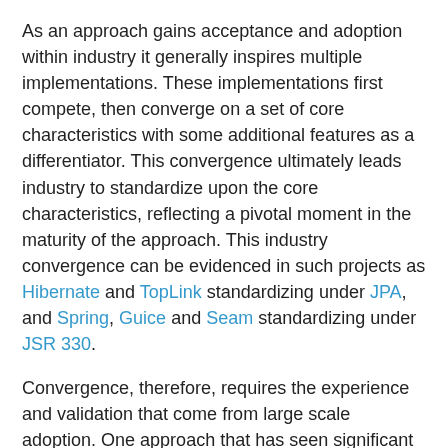As an approach gains acceptance and adoption within industry it generally inspires multiple implementations. These implementations first compete, then converge on a set of core characteristics with some additional features as a differentiator. This convergence ultimately leads industry to standardize upon the core characteristics, reflecting a pivotal moment in the maturity of the approach. This industry convergence can be evidenced in such projects as Hibernate and TopLink standardizing under JPA, and Spring, Guice and Seam standardizing under JSR 330.
Convergence, therefore, requires the experience and validation that come from large scale adoption. One approach that has seen significant adoption, being used by large organisations such as the Irish Department of Social Protection and deployed to thousands of users, is the Naked Objects pattern (Pawson 2004). Given the authors' focus on industry applicability, Naked Objects presents as a forerunner in bridging the divide between the theoretical and the practical.
The naked objects pattern considers "an application solely in